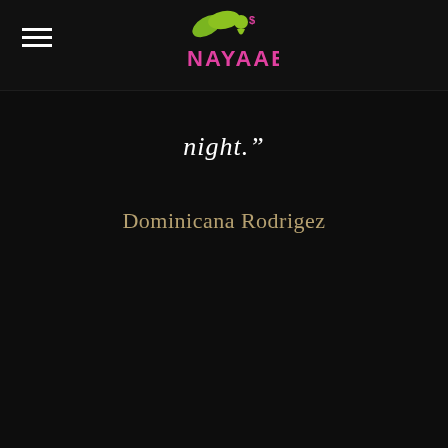NAYAAB (logo)
night.”
Dominicana Rodrigez